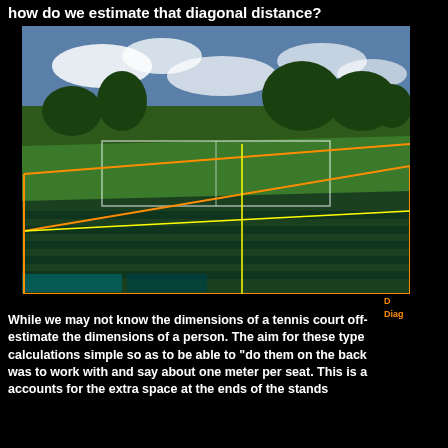how do we estimate that diagonal distance?
[Figure (photo): Aerial/elevated view of a Wimbledon tennis court with orange and yellow overlay lines drawn on the image indicating diagonal and other distance measurements. Spectators are visible in the stands surrounding the grass court.]
D Diag
While we may not know the dimensions of a tennis court off the top of our heads, we can estimate the dimensions of a person. The aim for these types of calculations is to keep the calculations simple so as to be able to "do them on the back of an envelope". Our first estimate was to work with and say about one meter per seat. This is a rough number that accounts for the extra space at the ends of the stands